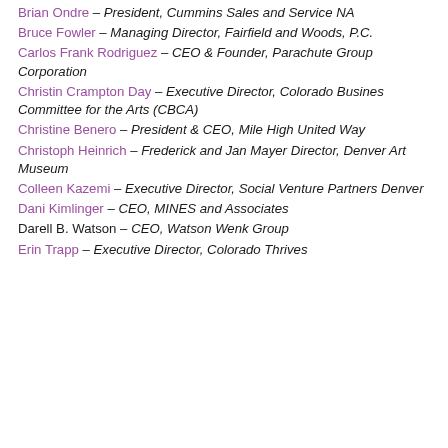Brian Ondre – President, Cummins Sales and Service NA
Bruce Fowler – Managing Director, Fairfield and Woods, P.C.
Carlos Frank Rodriguez – CEO & Founder, Parachute Group Corporation
Christin Crampton Day – Executive Director, Colorado Busines Committee for the Arts (CBCA)
Christine Benero – President & CEO, Mile High United Way
Christoph Heinrich – Frederick and Jan Mayer Director, Denver Art Museum
Colleen Kazemi – Executive Director, Social Venture Partners Denver
Dani Kimlinger – CEO, MINES and Associates
Darell B. Watson – CEO, Watson Wenk Group
Erin Trapp – Executive Director, Colorado Thrives